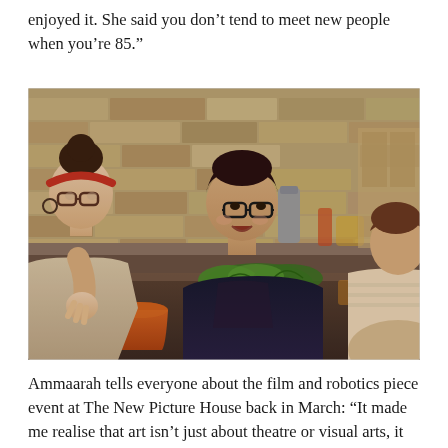enjoyed it. She said you don’t tend to meet new people when you’re 85.”
[Figure (photo): Three women sitting at a table in a cafe or workshop setting with a stone brick wall background. The woman on the left has a red headband and glasses, leaning on her hand. The woman in the middle has short dark hair, glasses, and a dark top, and is smiling. A third woman is partially visible on the right. There are plants in pots on the table and a thermos flask in the background.]
Ammaarah tells everyone about the film and robotics piece event at The New Picture House back in March: “It made me realise that art isn’t just about theatre or visual arts, it also